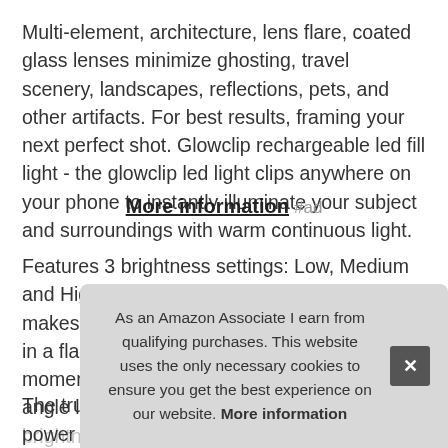Multi-element, architecture, lens flare, coated glass lenses minimize ghosting, travel scenery, landscapes, reflections, pets, and other artifacts. For best results, framing your next perfect shot. Glowclip rechargeable led fill light - the glowclip led light clips anywhere on your phone to instantly illuminate your subject and surroundings with warm continuous light.
More information #ad
Features 3 brightness settings: Low, Medium and High. The quick-release lanyard head makes it a cinch to access your Xenvo lenses in a flash so you never miss another photo moment. Contents include: truview 045x wide angle lens, and lapt... rele... Eas... Clot...
As an Amazon Associate I earn from qualifying purchases. This website uses the only necessary cookies to ensure you get the best experience on our website. More information
The trugrip lens clip offers superior gripping power to fasten